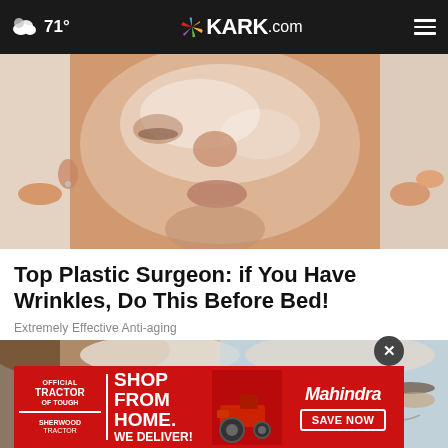71° KARK.com
[Figure (photo): Close-up of a woman's face with a transparent peel-off mask being removed, showing skin-care treatment]
Top Plastic Surgeon: if You Have Wrinkles, Do This Before Bed!
Extremely Effective Anti-aging
[Figure (photo): Close-up of a person's forehead and eyes with a medical/cosmetic treatment or bandage applied]
[Figure (other): Advertisement banner: Official Tractor of Tough / Sherwood Tractor. SHOP FROM HOME. WE DELIVER! Mahindra. SAVE NOW.]